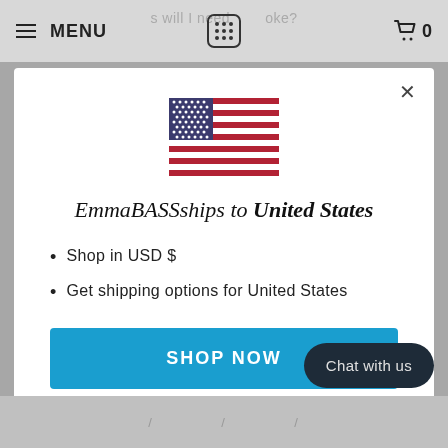≡ MENU   [logo]   🛒 0
[Figure (illustration): US flag icon centered in modal]
EmmaBASSshipsto United States
Shop in USD $
Get shipping options for United States
SHOP NOW
CHANGE SHIPPING COUNTRY
Chat with us